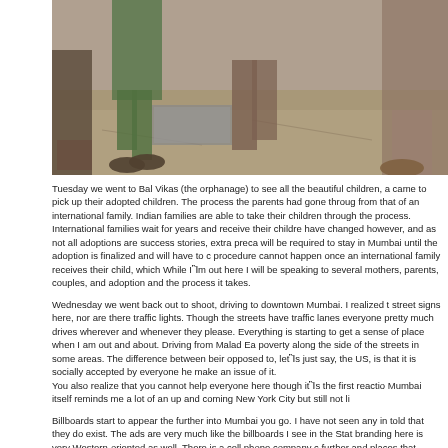[Figure (photo): Photograph showing people's feet and legs on a dusty ground, taken from a low angle, appearing to be outdoors in India]
Tuesday we went to Bal Vikas (the orphanage) to see all the beautiful children, a came to pick up their adopted children. The process the parents had gone through from that of an international family. Indian families are able to take their children through the process. International families wait for years and receive their childre have changed however, and as not all adoptions are success stories, extra preca will be required to stay in Mumbai until the adoption is finalized and will have to c procedure cannot happen once an international family receives their child, which While Iém out here I will be speaking to several mothers, parents, couples, and adoption and the process it takes.
Wednesday we went back out to shoot, driving to downtown Mumbai. I realized t street signs here, nor are there traffic lights. Though the streets have traffic lanes everyone pretty much drives wherever and whenever they please. Everything is starting to get a sense of place when I am out and about. Driving from Malad Ea poverty along the side of the streets in some areas. The difference between beir opposed to, letés just say, the US, is that it is socially accepted by everyone he make an issue of it.
You also realize that you cannot help everyone here though ités the first reactio Mumbai itself reminds me a lot of an up and coming New York City but still not li
Billboards start to appear the further into Mumbai you go. I have not seen any in told that they do exist. The ads are very much like the billboards I see in the Stat branding here is very Western-oriented as well. There is a cell phone company c further and places that started to chia on the content or advertising. To My